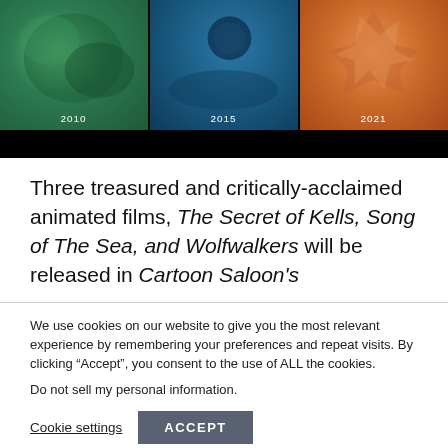[Figure (illustration): Three film panels side by side showing stills from animated films with years 2010, 2015, and 2021 labeled at the bottom of each panel. Left panel is green-toned, middle panel is blue-toned, right panel is orange-toned.]
Three treasured and critically-acclaimed animated films, The Secret of Kells, Song of The Sea, and Wolfwalkers will be released in Cartoon Saloon's
We use cookies on our website to give you the most relevant experience by remembering your preferences and repeat visits. By clicking “Accept”, you consent to the use of ALL the cookies.
Do not sell my personal information.
Cookie settings   ACCEPT